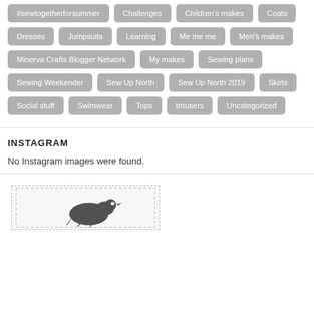#sewtogetherforsummer
Challenges
Children's makes
Coats
Dresses
Jumpsuits
Learning
Me me me
Men's makes
Minerva Crafts Blogger Network
My makes
Sewing plans
Sewing Weekender
Sew Up North
Sew Up North 2019
Skirts
Social stuff
Swimwear
Tops
trousers
Uncategorized
INSTAGRAM
No Instagram images were found.
[Figure (illustration): Partial illustration visible at the bottom of the page, appears to show a bird or animal sketch in black and white within a dashed border frame.]